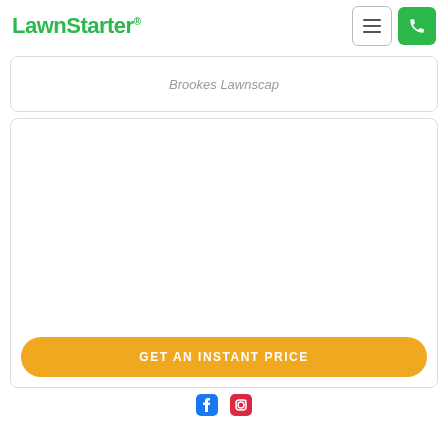LawnStarter®
Brookes Lawnscap
[Figure (screenshot): Empty white card/panel with a Get An Instant Price orange button at bottom]
GET AN INSTANT PRICE